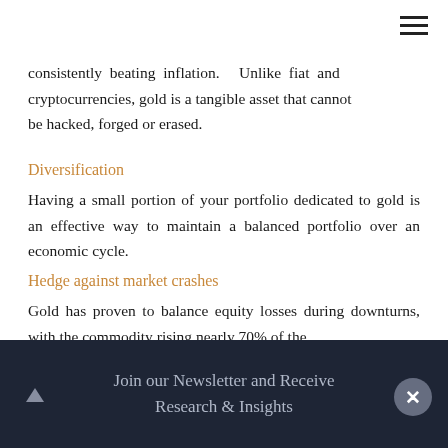consistently beating inflation. Unlike fiat and cryptocurrencies, gold is a tangible asset that cannot be hacked, forged or erased.
Diversification
Having a small portion of your portfolio dedicated to gold is an effective way to maintain a balanced portfolio over an economic cycle.
Hedge against market crashes
Gold has proven to balance equity losses during downturns, with the commodity rising nearly 70% of the
Join our Newsletter and Receive Research & Insights